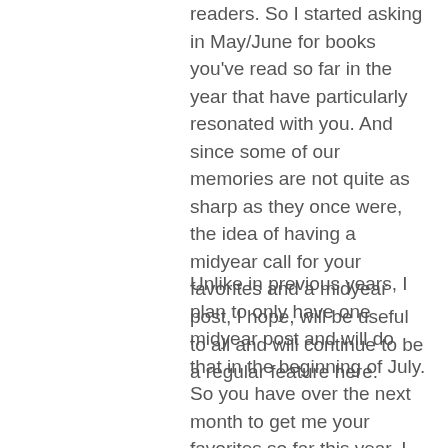readers. So I started asking in May/June for books you've read so far in the year that have particularly resonated with you. And since some of our memories are not quite as sharp as they once were, the idea of having a midyear call for your favorites and a midyear post, I hope, will be useful to all and will continue to be a regular feature here.
Unlike in previous years, I plan to only have one midyear post and will do that in the beginning of July. So you have over the next month to get me your favorites so far this year. I will send a couple of reminders, but I don't want to nag or plead. So even if you just want to give the titles and wait until December for your longer